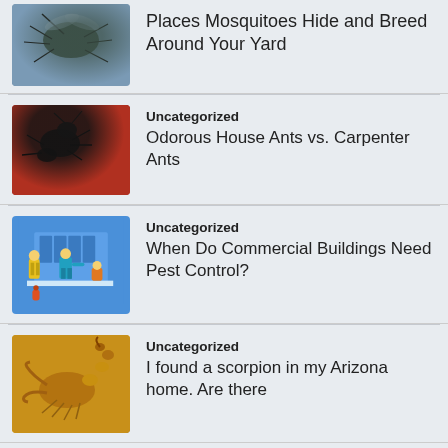[Figure (photo): Close-up photo of a mosquito on a gray-blue background]
Places Mosquitoes Hide and Breed Around Your Yard
[Figure (photo): Close-up photo of dark carpenter ants on a red surface]
Uncategorized
Odorous House Ants vs. Carpenter Ants
[Figure (illustration): Illustration of pest control workers in yellow and teal uniforms in a commercial building]
Uncategorized
When Do Commercial Buildings Need Pest Control?
[Figure (photo): Close-up photo of a scorpion with golden/yellow coloring]
Uncategorized
I found a scorpion in my Arizona home. Are there